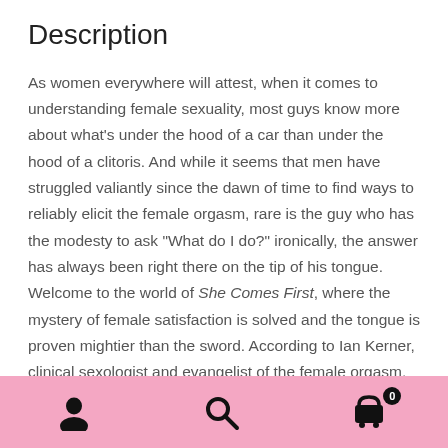Description
As women everywhere will attest, when it comes to understanding female sexuality, most guys know more about what's under the hood of a car than under the hood of a clitoris. And while it seems that men have struggled valiantly since the dawn of time to find ways to reliably elicit the female orgasm, rare is the guy who has the modesty to ask "What do I do?" ironically, the answer has always been right there on the tip of his tongue. Welcome to the world of She Comes First, where the mystery of female satisfaction is solved and the tongue is proven mightier than the sword. According to Ian Kerner, clinical sexologist and evangelist of the female orgasm, oral sex has long been deemed an optional aspect of foreplay, but
Navigation bar with user, search, and cart icons